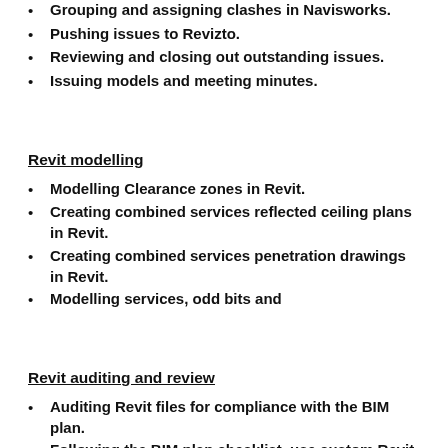Grouping and assigning clashes in Navisworks.
Pushing issues to Revizto.
Reviewing and closing out outstanding issues.
Issuing models and meeting minutes.
Revit modelling
Modelling Clearance zones in Revit.
Creating combined services reflected ceiling plans in Revit.
Creating combined services penetration drawings in Revit.
Modelling services, odd bits and
Revit auditing and review
Auditing Revit files for compliance with the BIM plan.
Following the BIM plan checklist, use custom Revit plugins to export reports and compile reports.